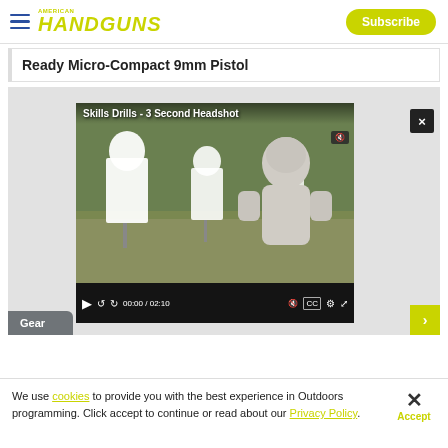HANDGUNS | Subscribe
Ready Micro-Compact 9mm Pistol
[Figure (screenshot): Embedded video player showing 'Skills Drills - 3 Second Headshot' with a shooting range scene, video controls showing 00:00 / 02:10, with a close button (x) in top right. Below the video there is a 'Gear' label tab.]
We use cookies to provide you with the best experience in Outdoors programming. Click accept to continue or read about our Privacy Policy.